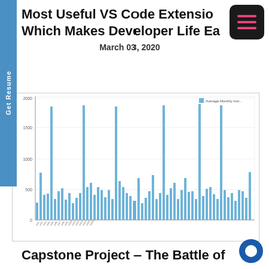Most Useful VS Code Extensions Which Makes Developer Life Easier
March 03, 2020
[Figure (bar-chart): Bar chart showing average monthly installs for many VS Code extensions. Bars of varying heights, mostly in light blue, with some tall spikes reaching near 2000 and many bars in the 200-800 range. X-axis shows extension names (rotated labels), y-axis shows install counts.]
Capstone Project – The Battle of